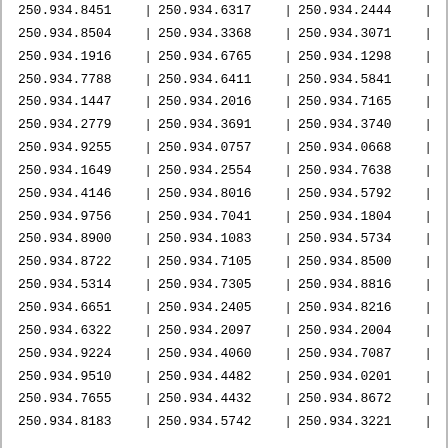| 250.934.8451 | 250.934.6317 | 250.934.2444 |
| 250.934.8504 | 250.934.3368 | 250.934.3071 |
| 250.934.1916 | 250.934.6765 | 250.934.1298 |
| 250.934.7788 | 250.934.6411 | 250.934.5841 |
| 250.934.1447 | 250.934.2016 | 250.934.7165 |
| 250.934.2779 | 250.934.3691 | 250.934.3740 |
| 250.934.9255 | 250.934.0757 | 250.934.0668 |
| 250.934.1649 | 250.934.2554 | 250.934.7638 |
| 250.934.4146 | 250.934.8016 | 250.934.5792 |
| 250.934.9756 | 250.934.7041 | 250.934.1804 |
| 250.934.8900 | 250.934.1083 | 250.934.5734 |
| 250.934.8722 | 250.934.7105 | 250.934.8500 |
| 250.934.5314 | 250.934.7305 | 250.934.8816 |
| 250.934.6651 | 250.934.2405 | 250.934.8216 |
| 250.934.6322 | 250.934.2097 | 250.934.2004 |
| 250.934.9224 | 250.934.4060 | 250.934.7087 |
| 250.934.9510 | 250.934.4482 | 250.934.0201 |
| 250.934.7655 | 250.934.4432 | 250.934.8672 |
| 250.934.8183 | 250.934.5742 | 250.934.3221 |